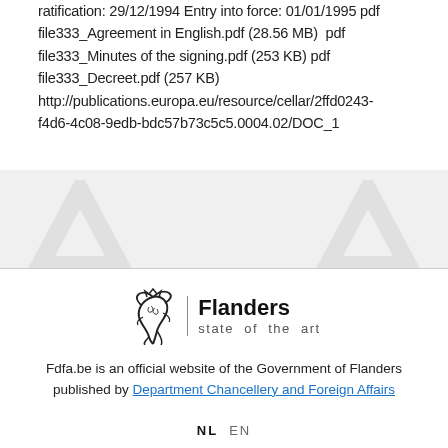ratification: 29/12/1994 Entry into force: 01/01/1995 pdf file333_Agreement in English.pdf (28.56 MB)  pdf file333_Minutes of the signing.pdf (253 KB) pdf file333_Decreet.pdf (257 KB) http://publications.europa.eu/resource/cellar/2ffd0243-f4d6-4c08-9edb-bdc57b73c5c5.0004.02/DOC_1
[Figure (logo): Flanders state of the art logo with stylized lion icon]
Fdfa.be is an official website of the Government of Flanders published by Department Chancellery and Foreign Affairs
NL  EN